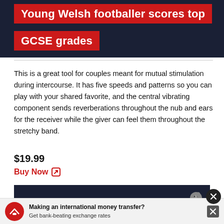Young Welsh footballer scores top GCSE grades
This is a great tool for couples meant for mutual stimulation during intercourse. It has five speeds and patterns so you can play with your shared favorite, and the central vibrating component sends reverberations throughout the nub and ears for the receiver while the giver can feel them throughout the stretchy band.
$19.99
Buy Now
[Figure (other): Dark navy ad bar with squirrel logo icon on the right]
[Figure (other): Ad content area with broken image placeholder]
[Figure (other): Bottom banner ad: Making an international money transfer? Get bank-beating exchange rates]